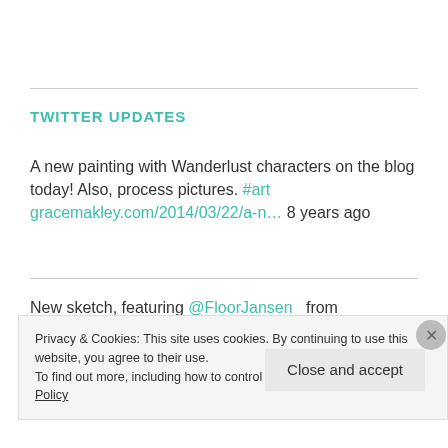TWITTER UPDATES
A new painting with Wanderlust characters on the blog today! Also, process pictures. #art gracemakley.com/2014/03/22/a-n... 8 years ago
New sketch, featuring @FloorJansen_ from @NightwishBand : gracemakley.com/2013/12/04/ske...
Privacy & Cookies: This site uses cookies. By continuing to use this website, you agree to their use.
To find out more, including how to control cookies, see here: Cookie Policy
Close and accept